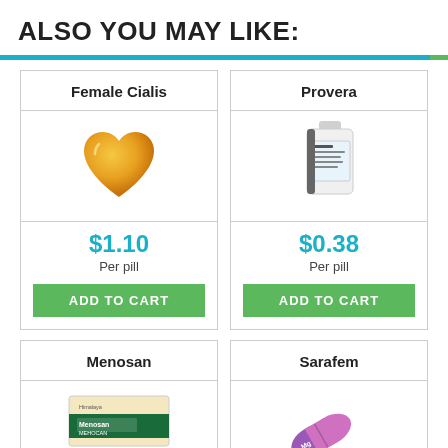ALSO YOU MAY LIKE:
[Figure (illustration): Horizontal teal/green divider bar]
Female Cialis
[Figure (photo): Golden heart-shaped pill representing Female Cialis]
$1.10 Per pill
ADD TO CART
Provera
[Figure (photo): White bottle of Provera medication]
$0.38 Per pill
ADD TO CART
Menosan
[Figure (photo): Menosan herbal supplement box with green label]
Sarafem
[Figure (photo): Pink/purple capsule pill representing Sarafem]